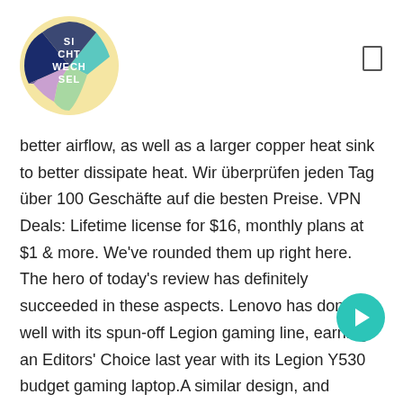[Figure (logo): Circular logo with colorful sections (yellow, teal, green, navy, purple) containing the text 'SICHTWECHSEL' in white]
[Figure (other): Small square bracket or icon in top right corner]
better airflow, as well as a larger copper heat sink to better dissipate heat. Wir überprüfen jeden Tag über 100 Geschäfte auf die besten Preise. VPN Deals: Lifetime license for $16, monthly plans at $1 & more. We've rounded them up right here. The hero of today's review has definitely succeeded in these aspects. Lenovo has done well with its spun-off Legion gaming line, earning an Editors' Choice last year with its Legion Y530 budget gaming laptop.A similar design, and Nvidia's new G  e RTX … Der 15,6-Zoll-Laptop hat ein IPS-Panel mit einer Auflösung von 1920 x 1080 Pixel. Although a gaming
[Figure (other): Teal circular play button overlay in lower right area of text]